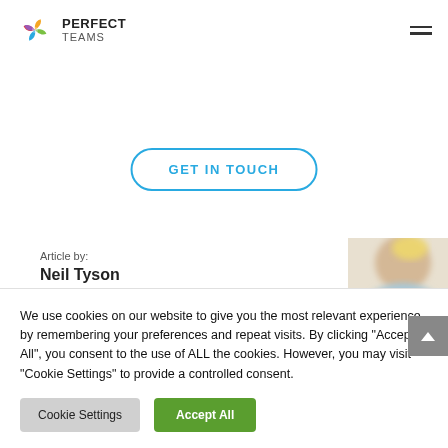[Figure (logo): Perfect Teams logo — colorful star shape with PERFECT TEAMS text]
GET IN TOUCH
Article by:
Neil Tyson
[Figure (photo): Partial blurred portrait photo in top right corner of article-by section]
We use cookies on our website to give you the most relevant experience by remembering your preferences and repeat visits. By clicking "Accept All", you consent to the use of ALL the cookies. However, you may visit "Cookie Settings" to provide a controlled consent.
Cookie Settings
Accept All